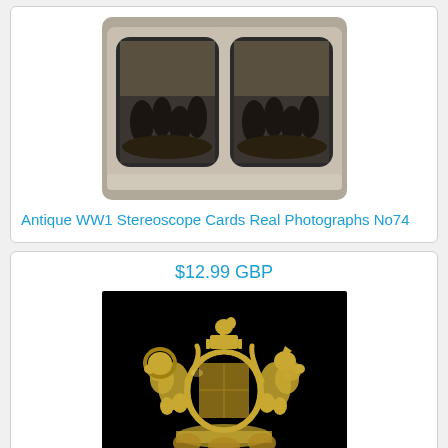[Figure (photo): Antique WW1 stereoscope card showing soldiers in a trench, black and white photograph in a stereoview card holder]
Antique WW1 Stereoscope Cards Real Photographs No74
$12.99 GBP
[Figure (photo): Royal coat of arms badge or cap badge, golden/brass coloured metal with lion and unicorn on black background]